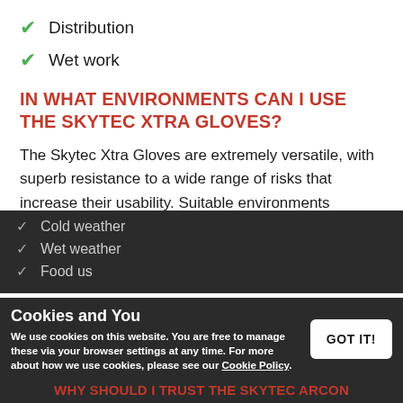✓ Distribution
✓ Wet work
IN WHAT ENVIRONMENTS CAN I USE THE SKYTEC XTRA GLOVES?
The Skytec Xtra Gloves are extremely versatile, with superb resistance to a wide range of risks that increase their usability. Suitable environments include:
✓ Cold weather
✓ Wet weather
✓ Food us
Cookies and You
We use cookies on this website. You are free to manage these via your browser settings at any time. For more about how we use cookies, please see our Cookie Policy.
WHY SHOULD I TRUST THE SKYTEC ARCON